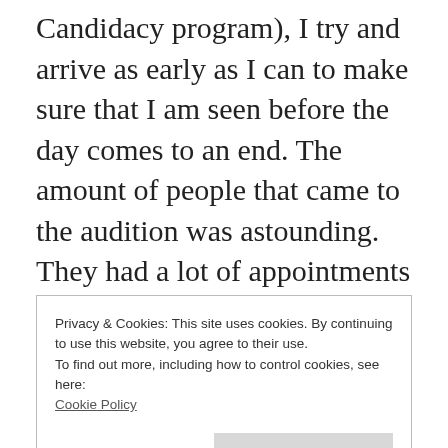Candidacy program), I try and arrive as early as I can to make sure that I am seen before the day comes to an end. The amount of people that came to the audition was astounding. They had a lot of appointments scheduled and there was a lot of EMC and non-equity performers that came as well. I was #10ish on the EMC list and was able to be seen by 11am! I entered the room and was greeted by the
Privacy & Cookies: This site uses cookies. By continuing to use this website, you agree to their use.
To find out more, including how to control cookies, see here:
Cookie Policy
Close and accept
left the room.